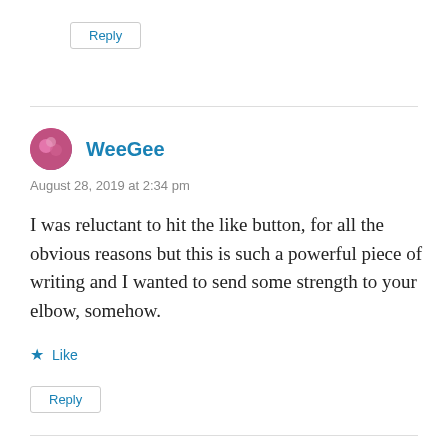Reply
WeeGee
August 28, 2019 at 2:34 pm
I was reluctant to hit the like button, for all the obvious reasons but this is such a powerful piece of writing and I wanted to send some strength to your elbow, somehow.
Like
Reply